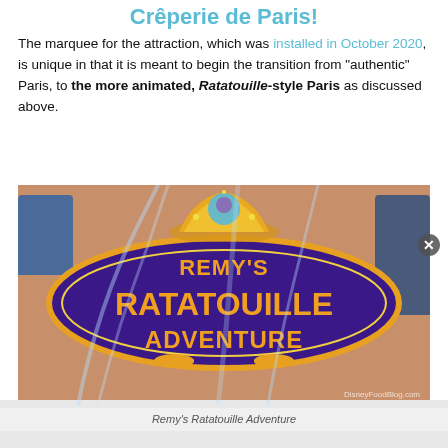Crêperie de Paris!
The marquee for the attraction, which was installed in October 2020, is unique in that it is meant to begin the transition from “authentic” Paris, to the more animated, Ratatouille-style Paris as discussed above.
[Figure (photo): Photo of the Remy's Ratatouille Adventure attraction marquee sign at Disney, featuring a large blue oval sign with gold lettering reading 'Remy's Ratatouille Adventure', topped with a golden crown decoration featuring Remy the rat character, with water fountains spraying in front.]
Remy's Ratatouille Adventure